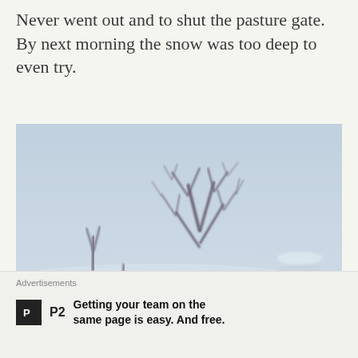Never went out and to shut the pasture gate. By next morning the snow was too deep to even try.
[Figure (photo): A winter blizzard scene showing a large bare tree surrounded by deep snow and fence posts, with visibility reduced by blowing snow and a grey-blue sky.]
Advertisements
[Figure (logo): P2 logo — black square with white 'P' icon and 'P2' text label]
Getting your team on the same page is easy. And free.